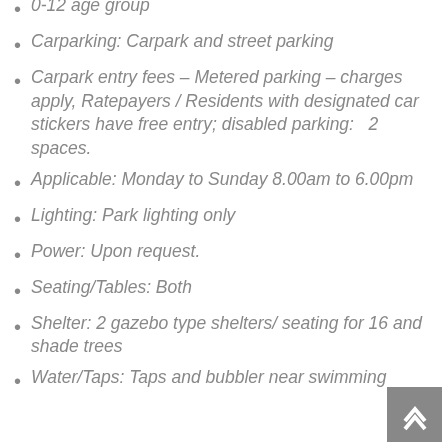0-12 age group
Carparking: Carpark and street parking
Carpark entry fees – Metered parking – charges apply, Ratepayers / Residents with designated car stickers have free entry; disabled parking:   2 spaces.
Applicable: Monday to Sunday 8.00am to 6.00pm
Lighting: Park lighting only
Power: Upon request.
Seating/Tables: Both
Shelter: 2 gazebo type shelters/ seating for 16 and shade trees
Water/Taps: Taps and bubbler near swimming